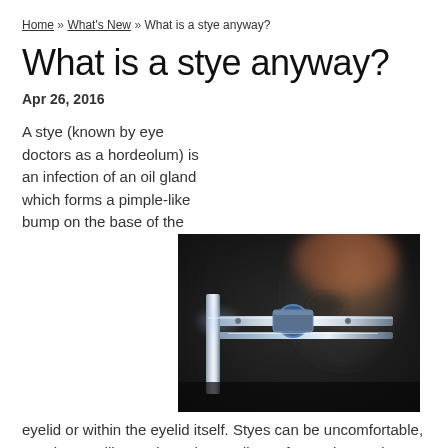Home » What's New » What is a stye anyway?
What is a stye anyway?
Apr 26, 2016
[Figure (photo): Close-up photo of an eye examination instrument (slit lamp) in focus with a blurred patient face in the background]
A stye (known by eye doctors as a hordeolum) is an infection of an oil gland which forms a pimple-like bump on the base of the eyelid or within the eyelid itself. Styes can be uncomfortable, causing swelling, pain, redness, discomfort and sometimes excessive tearing or blurred vision if it is large enough to distort the front surface of the eyes.